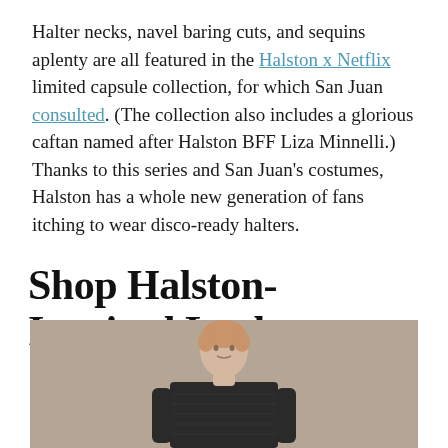Halter necks, navel baring cuts, and sequins aplenty are all featured in the Halston x Netflix limited capsule collection, for which San Juan consulted. (The collection also includes a glorious caftan named after Halston BFF Liza Minnelli.) Thanks to this series and San Juan's costumes, Halston has a whole new generation of fans itching to wear disco-ready halters.
Shop Halston-Inspired Looks
[Figure (photo): A fashion model with short light auburn hair wearing a dark textured/sequined top, photographed against a taupe/brown background.]